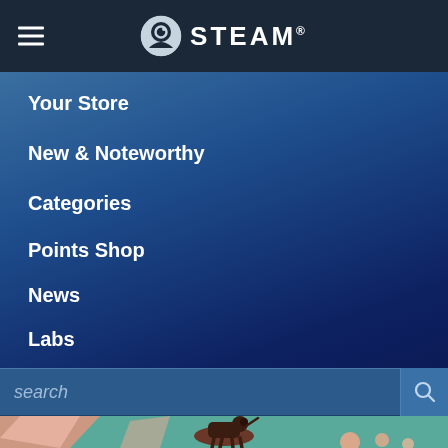STEAM
Your Store
New & Noteworthy
Categories
Points Shop
News
Labs
[Figure (screenshot): Stylized game art showing a dark silhouette of a dog standing on a mound in a colorful low-poly landscape with teal background, pink and orange geometric shapes, and small round bushes]
[Figure (logo): Steam logo: circular icon with gear/arrow design and STEAM wordmark in white on dark background]